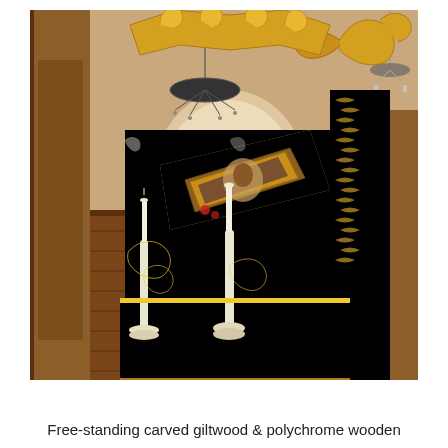[Figure (photo): A free-standing carved giltwood and polychrome wooden pulpit or ambo in an Orthodox church interior. The piece features elaborate gold-leafed ornate carvings including dragon/eagle figures at the top, decorative scrollwork, and an angled book rest. Two white candle holders are visible. The background shows wooden church pews, a chandelier, and religious icons on the wall.]
Free-standing carved giltwood & polychrome wooden